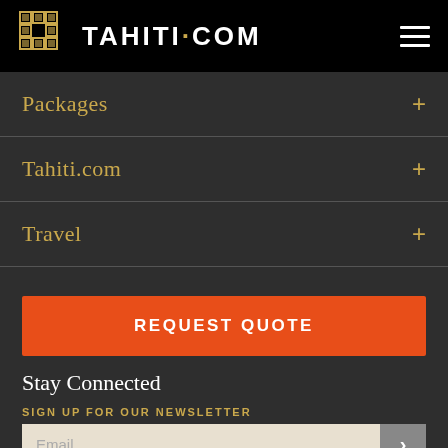TAHITI·COM
Packages
Tahiti.com
Travel
REQUEST QUOTE
Stay Connected
SIGN UP FOR OUR NEWSLETTER
Email